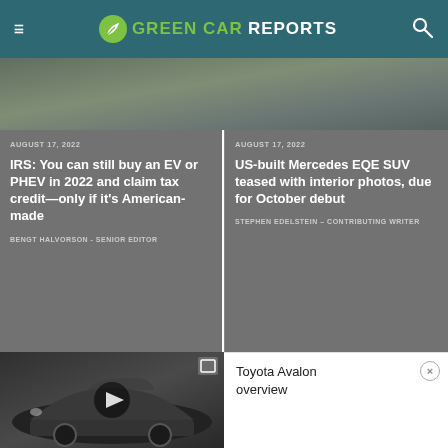GREEN CAR REPORTS
[Figure (photo): Partial view of cars or landscape in a dark grey-green toned banner image]
AUGUST 17, 2022
IRS: You can still buy an EV or PHEV in 2022 and claim tax credit—only if it's American-made
BENGT HALVORSON - SENIOR EDITOR
AUGUST 17, 2022
US-built Mercedes EQE SUV teased with interior photos, due for October debut
STEPHEN EDELSTEIN – CONTRIBUTING WRITER
[Figure (photo): Toyota Avalon car video thumbnail showing a white Toyota Avalon sedan with a play button overlay]
Toyota Avalon overview